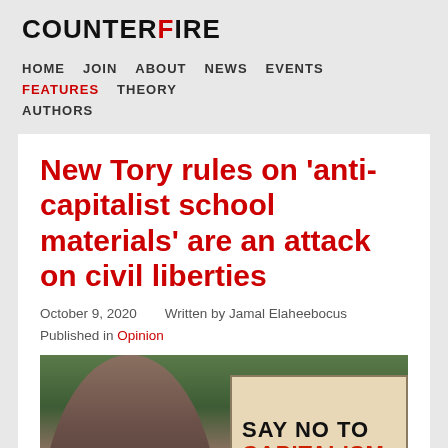COUNTERFIRE
HOME   JOIN   ABOUT   NEWS   EVENTS   FEATURES   THEORY   AUTHORS
New Tory rules on 'anti-capitalist school materials' are an attack on civil liberties
October 9, 2020   Written by Jamal Elaheebocus
Published in Opinion
[Figure (photo): Person at a protest holding a sign reading 'SAY NO TO CAPITALISM']